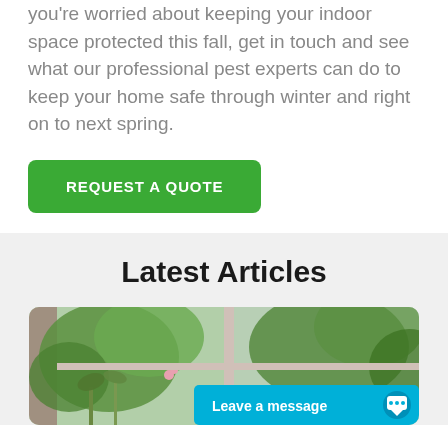you're worried about keeping your indoor space protected this fall, get in touch and see what our professional pest experts can do to keep your home safe through winter and right on to next spring.
REQUEST A QUOTE
Latest Articles
[Figure (photo): Window with green garden plants visible outside, with a chat widget overlay reading 'Leave a message']